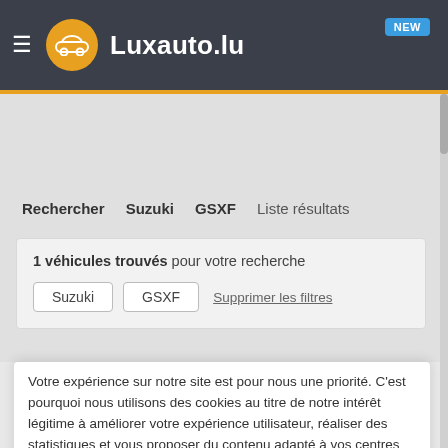Luxauto.lu — NEW
Rechercher   Suzuki   GSXF   Liste résultats
1 véhicules trouvés pour votre recherche
Suzuki   GSXF   Supprimer les filtres
Votre expérience sur notre site est pour nous une priorité. C'est pourquoi nous utilisons des cookies au titre de notre intérêt légitime à améliorer votre expérience utilisateur, réaliser des statistiques et vous proposer du contenu adapté à vos centres d'intérêt. En